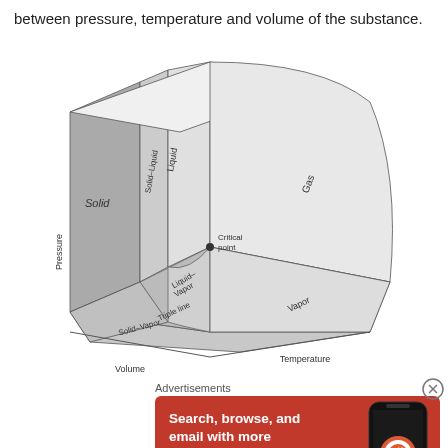between pressure, temperature and volume of the substance.
[Figure (engineering-diagram): 3D phase diagram showing the relationship between pressure, temperature, and volume for a substance. Regions labeled: Solid, Solid-Liquid, Liquid, Gas, Liquid-Vapor, Vapor, Solid-Vapor. Also shows Critical point and Triple line. Axes labeled Pressure (vertical), Temperature (horizontal right), Volume (horizontal left).]
Advertisements
[Figure (illustration): DuckDuckGo advertisement: Search, browse, and email with more privacy. All in One Free App. Shows a phone with DuckDuckGo logo.]